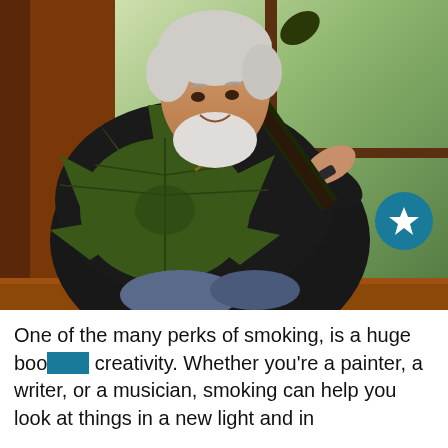[Figure (photo): An older man with white/gray hair and beard, smiling, wearing a dark shirt, playing an electric guitar shaped like a cannabis leaf. He is seated in what appears to be a wood-paneled room with a large window behind him showing green foliage outside.]
One of the many perks of smoking, is a huge boo[st to] creativity. Whether you're a painter, a writer, or a musician, smoking can help you look at things in a new light and in